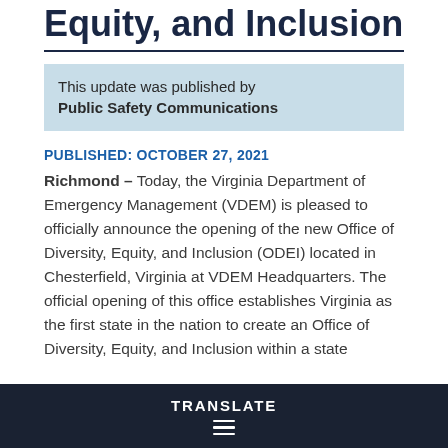Equity, and Inclusion
This update was published by Public Safety Communications
PUBLISHED: OCTOBER 27, 2021
Richmond – Today, the Virginia Department of Emergency Management (VDEM) is pleased to officially announce the opening of the new Office of Diversity, Equity, and Inclusion (ODEI) located in Chesterfield, Virginia at VDEM Headquarters. The official opening of this office establishes Virginia as the first state in the nation to create an Office of Diversity, Equity, and Inclusion within a state emergency management office. The ODEI will provide
TRANSLATE